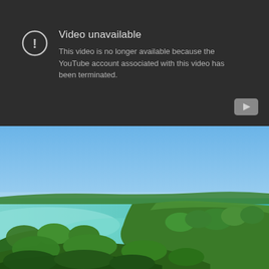[Figure (screenshot): YouTube video unavailable error screen with dark background showing exclamation icon, 'Video unavailable' heading, and message 'This video is no longer available because the YouTube account associated with this video has been terminated.' with a YouTube play button icon in the bottom right corner.]
[Figure (photo): Aerial or elevated photograph of a tropical coastal scene with turquoise-blue waters, a green island or peninsula covered in palm trees and lush vegetation, under a clear blue sky.]